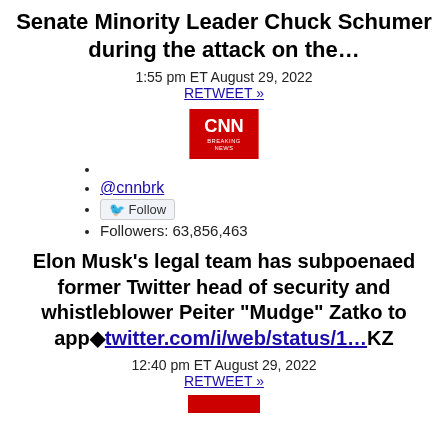Senate Minority Leader Chuck Schumer during the attack on the…
1:55 pm ET August 29, 2022
RETWEET »
[Figure (logo): CNN Breaking News logo in red with white text]
@cnnbrk
Follow
Followers: 63,856,463
Elon Musk's legal team has subpoenaed former Twitter head of security and whistleblower Peiter "Mudge" Zatko to app◆twitter.com/i/web/status/1…KZ
12:40 pm ET August 29, 2022
RETWEET »